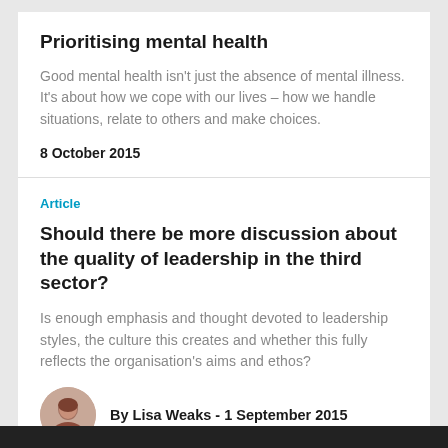Prioritising mental health
Good mental health isn't just the absence of mental illness. It's about how we cope with our lives – how we handle situations, relate to others and make choices.
8 October 2015
Article
Should there be more discussion about the quality of leadership in the third sector?
Is enough emphasis and thought devoted to leadership styles, the culture this creates and whether this fully reflects the organisation's aims and ethos?
By Lisa Weaks - 1 September 2015